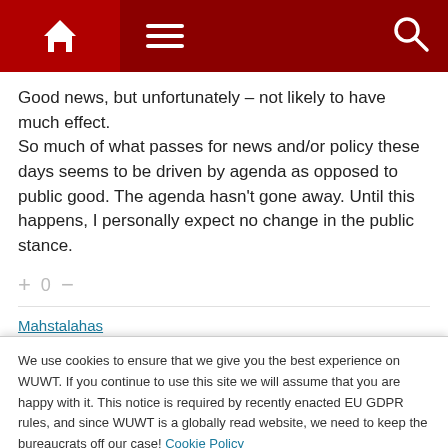Navigation bar with home, menu, and search icons
Good news, but unfortunately – not likely to have much effect.
So much of what passes for news and/or policy these days seems to be driven by agenda as opposed to public good. The agenda hasn't gone away. Until this happens, I personally expect no change in the public stance.
+ 0 −
We use cookies to ensure that we give you the best experience on WUWT. If you continue to use this site we will assume that you are happy with it. This notice is required by recently enacted EU GDPR rules, and since WUWT is a globally read website, we need to keep the bureaucrats off our case! Cookie Policy
Close and accept
negotiators are pushing permanent poverty for the poor. We